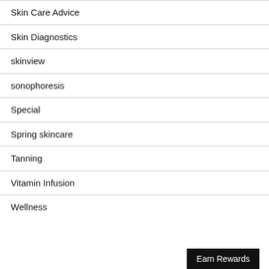Skin Care Advice
Skin Diagnostics
skinview
sonophoresis
Special
Spring skincare
Tanning
Vitamin Infusion
Wellness
Earn Rewards